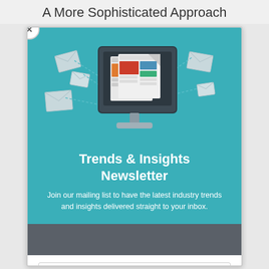A More Sophisticated Approach
[Figure (illustration): Newsletter signup modal with close (x) button. Teal/turquoise background with a monitor illustration showing newspaper pages and envelope icons floating around it.]
Trends & Insights Newsletter
Join our mailing list to have the latest industry trends and insights delivered straight to your inbox.
First Name